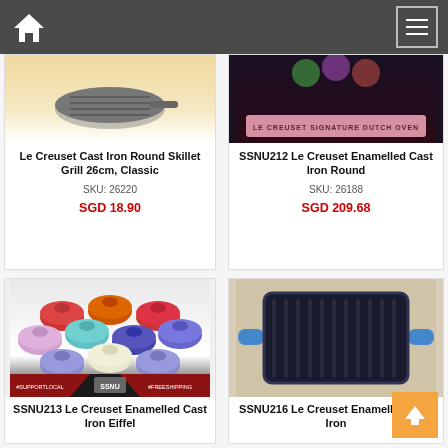Navigation bar with home icon and menu icon
Le Creuset Cast Iron Round Skillet Grill 26cm, Classic
SKU: 26220
SGD 18.90
SSNU212 Le Creuset Enamelled Cast Iron Round
SKU: 26188
SGD 209.68
[Figure (photo): Multiple colorful Le Creuset enamelled cast iron cookware pots in various colors arranged in a group, with SSNU branding banner at bottom]
SSNU213 Le Creuset Enamelled Cast Iron Eiffel
[Figure (photo): Blue Le Creuset enamelled cast iron square grill pan viewed from above on a light beige background]
SSNU216 Le Creuset Enamelled Cast Iron